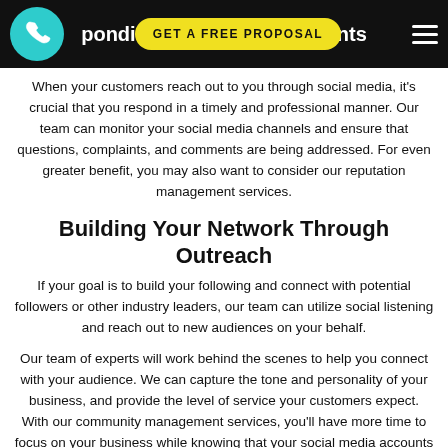Responding To Comments
When your customers reach out to you through social media, it's crucial that you respond in a timely and professional manner. Our team can monitor your social media channels and ensure that questions, complaints, and comments are being addressed. For even greater benefit, you may also want to consider our reputation management services.
Building Your Network Through Outreach
If your goal is to build your following and connect with potential followers or other industry leaders, our team can utilize social listening and reach out to new audiences on your behalf.
Our team of experts will work behind the scenes to help you connect with your audience. We can capture the tone and personality of your business, and provide the level of service your customers expect. With our community management services, you'll have more time to focus on your business while knowing that your social media accounts are being managed with the highest level of care.